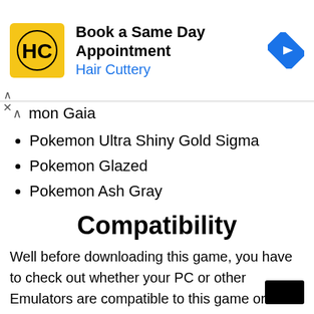[Figure (other): Advertisement banner for Hair Cuttery showing logo, 'Book a Same Day Appointment' text, and navigation icon]
mon Gaia (partial, with chevron/caret)
Pokemon Ultra Shiny Gold Sigma
Pokemon Glazed
Pokemon Ash Gray
Compatibility
Well before downloading this game, you have to check out whether your PC or other Emulators are compatible to this game or not. Normally this game requires real GBA hardware along with supported flashcards to run properly.
Emulator Compatibility
mGBA
My Boy
GBA Runner 2